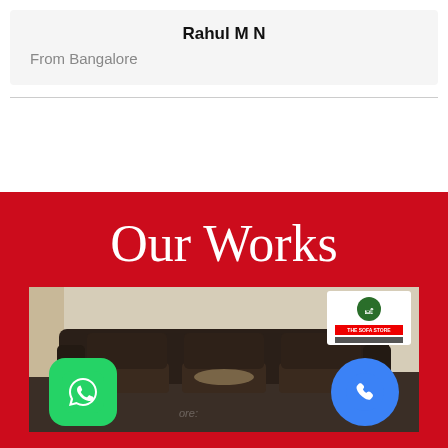Rahul M N
From Bangalore
Our Works
[Figure (photo): Photo of a dark brown leather three-seater sofa with a 'The Sofa Store' watermark logo in the top right corner. WhatsApp green icon button on the bottom left and a blue phone call button on the bottom right.]